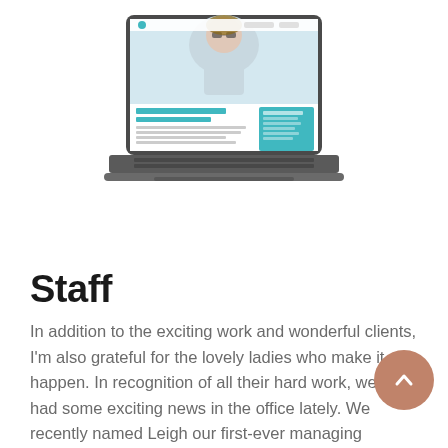[Figure (screenshot): A laptop computer displaying a website for Perspective Eye Center. The website shows a woman trying on glasses, with teal/green branding and text 'WELCOME TO PERSPECTIVE EYE CENTER'.]
Staff
In addition to the exciting work and wonderful clients, I'm also grateful for the lovely ladies who make it all happen. In recognition of all their hard work, we've had some exciting news in the office lately. We recently named Leigh our first-ever managing director. She will now serve as the operational lead for the agency, helping to align business development and client